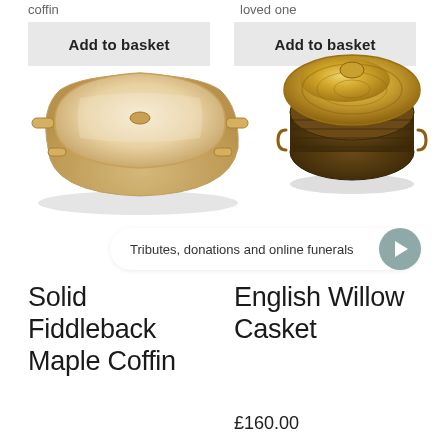coffin
loved one
Add to basket
Add to basket
[Figure (photo): Solid Fiddleback Maple Coffin - a light wood coffin viewed from above at an angle]
[Figure (photo): English Willow Casket - a round woven wicker basket casket with lid]
Tributes, donations and online funerals
Solid Fiddleback Maple Coffin
English Willow Casket
£160.00